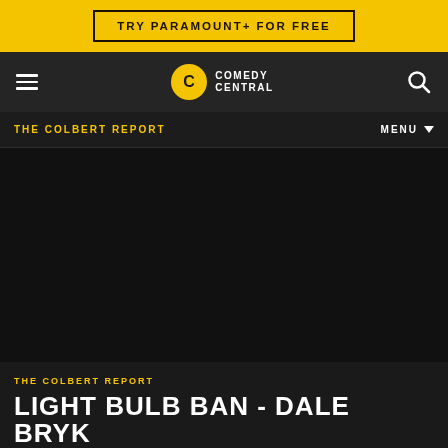TRY PARAMOUNT+ FOR FREE
[Figure (logo): Comedy Central navigation bar with hamburger menu, Comedy Central logo, and search icon]
THE COLBERT REPORT    MENU
[Figure (screenshot): Dark video player area for The Colbert Report episode]
THE COLBERT REPORT
LIGHT BULB BAN - DALE BRYK